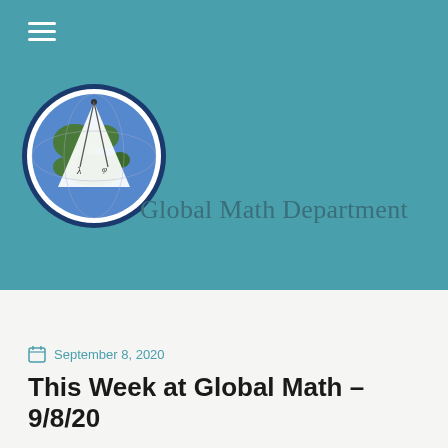[Figure (logo): Global Math Department logo: a circular badge with a globe (showing green continents and blue oceans) and a white spherical triangle geometry figure overlaid on it, inside a dark blue circular border.]
Global Math Department
September 8, 2020
This Week at Global Math – 9/8/20